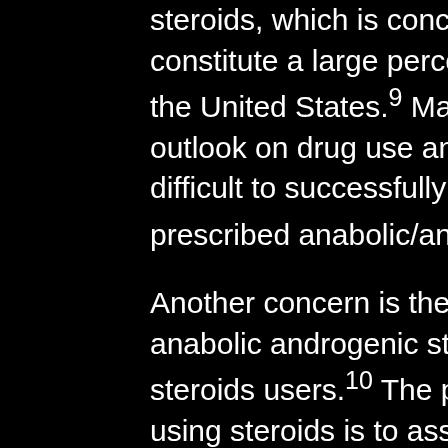steroids, which is concerning given that youth athletes constitute a large percentage of young athletes across the United States.9 Many young athletes have a negative outlook on drug use and misuse, making it especially difficult to successfully navigate in school if they are prescribed anabolic/androgenic steroids.10,11
Another concern is the risk associated with high doses of anabolic androgenic steroids, statistics of anabolic steroids users.10 The primary concern when considering using steroids is to assess what level of dosage is necessary, statistics of anabolic steroids users. This is often difficult to determine when a high dose of steroids is being taken or the age of the user.8-10 Many people may think that a dose of 12.5 mg/day of anabolic steroids will provide the same effects as 2 mg/kg. However, research indicates the use of higher doses in high doses may lead to